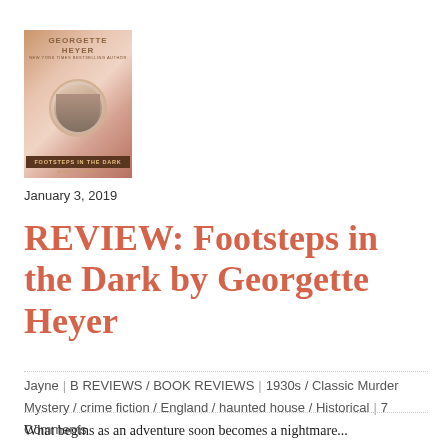[Figure (illustration): Book cover of 'Footsteps in the Dark' by Georgette Heyer, pink/salmon colored cover with author name at top in gold/brown, circular vignette portrait of a couple in the center, and title at bottom on dark banner.]
January 3, 2019
REVIEW: Footsteps in the Dark by Georgette Heyer
Jayne | B REVIEWS / BOOK REVIEWS | 1930s / Classic Murder Mystery / crime fiction / England / haunted house / Historical | 7 Comments
What begins as an adventure soon becomes a nightmare...